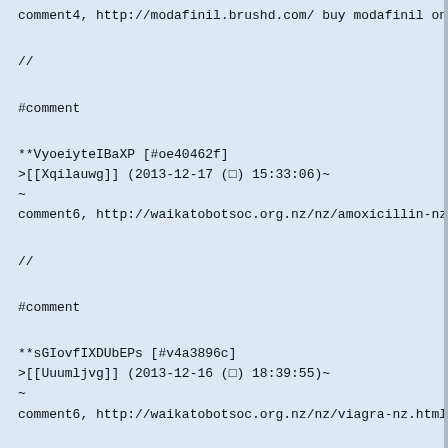comment4, http://modafinil.brushd.com/ buy modafinil online
//
#comment
**VyoeiyteIBaXP [#oe40462f]
>[[Xqilauwg]] (2013-12-17 (□) 15:33:06)~
~
comment6, http://waikatobotsoc.org.nz/nz/amoxicillin-nz.htm
//
#comment
**sGIovfIXDUbEPs [#v4a3896c]
>[[Uuumljvg]] (2013-12-16 (□) 18:39:55)~
~
comment6, http://waikatobotsoc.org.nz/nz/viagra-nz.html via
//
#comment
**NOpUuGyBzKESq [#ze306ffa]
>[[Qdoudwok]] (2013-12-16 (□) 10:51:01)~
~
comment6, http://symposium.microscopy.ie/images/cialis-onli